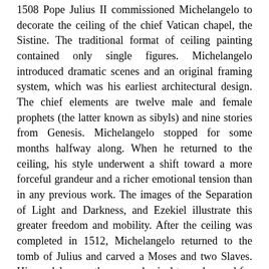1508 Pope Julius II commissioned Michelangelo to decorate the ceiling of the chief Vatican chapel, the Sistine. The traditional format of ceiling painting contained only single figures. Michelangelo introduced dramatic scenes and an original framing system, which was his earliest architectural design. The chief elements are twelve male and female prophets (the latter known as sibyls) and nine stories from Genesis. Michelangelo stopped for some months halfway along. When he returned to the ceiling, his style underwent a shift toward a more forceful grandeur and a richer emotional tension than in any previous work. The images of the Separation of Light and Darkness, and Ezekiel illustrate this greater freedom and mobility. After the ceiling was completed in 1512, Michelangelo returned to the tomb of Julius and carved a Moses and two Slaves. His models were the same physical types he used for the prophets and their attendants in the Sistine ceiling. Julius's death in 1513 halted the work on his tomb. Pope Leo X, son of Lorenzo de' Medici, proposed a marble facade for the family parish church of San Lorenzo in Florence to be decorated with statues by Michelangelo. After four years of quarrying and designing the project was canceled. Medici Chapel In 1520 Michelangelo was commissioned to decorate the Medici Chapel for...